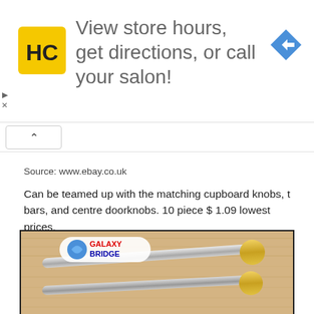[Figure (infographic): Advertisement banner with HC hair salon logo (black and yellow square), text 'View store hours, get directions, or call your salon!' and a blue navigation arrow icon]
Source: www.ebay.co.uk
Can be teamed up with the matching cupboard knobs, t bars, and centre doorknobs. 10 piece $ 1.09 lowest prices.
[Figure (photo): Photo of two chrome and gold door pull handles on a wooden surface, with Galaxy Bridge logo in upper left corner]